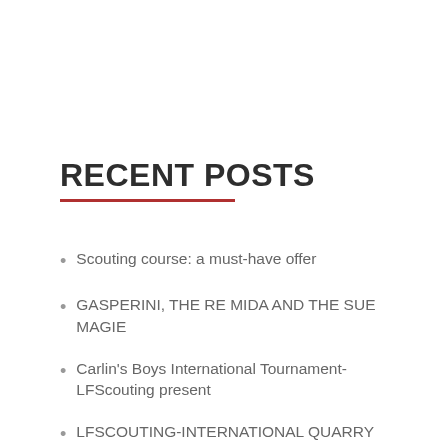RECENT POSTS
Scouting course: a must-have offer
GASPERINI, THE RE MIDA AND THE SUE MAGIE
Carlin's Boys International Tournament- LFScouting present
LFSCOUTING-INTERNATIONAL QUARRY TOURNAMENT
Toma Basic: The hidden gem of Bordeaux